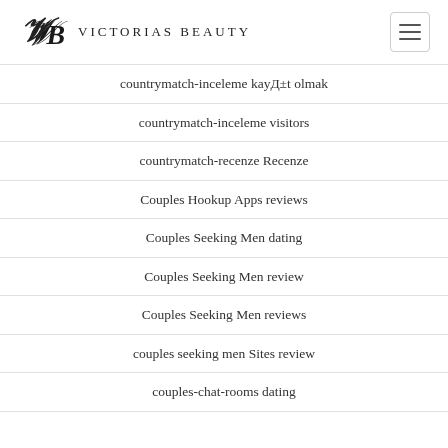Victorias Beauty
countrymatch-inceleme kayД±t olmak
countrymatch-inceleme visitors
countrymatch-recenze Recenze
Couples Hookup Apps reviews
Couples Seeking Men dating
Couples Seeking Men review
Couples Seeking Men reviews
couples seeking men Sites review
couples-chat-rooms dating